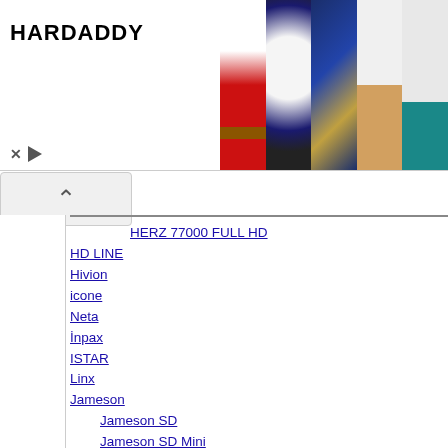[Figure (screenshot): Hardaddy clothing advertisement banner with logo and product images of hoodies and shirts]
HERZ 77000 FULL HD
HD LINE
Hivion
icone
Neta
İnpax
ISTAR
Linx
Jameson
Jameson SD
Jameson SD Mini
Jameson HD
Jameson 2014 Full HD
Jameson 3001 HD
Jameson 3003 HD
Jameson 3004 HD
Jameson 3606 HD
Jameson Mini 2012 HD
Jameson Mini 2013 HD